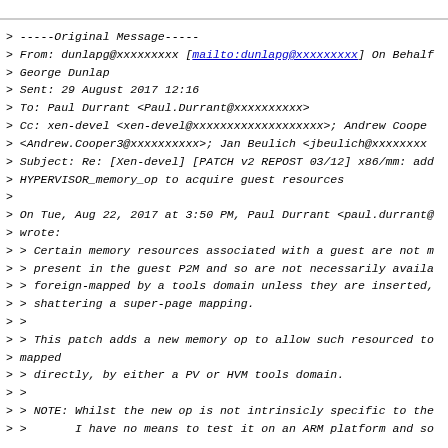> -----Original Message-----
> From: dunlapg@xxxxxxxxx [mailto:dunlapg@xxxxxxxxx] On Behalf
> George Dunlap
> Sent: 29 August 2017 12:16
> To: Paul Durrant <Paul.Durrant@xxxxxxxxxx>
> Cc: xen-devel <xen-devel@xxxxxxxxxxxxxxxxxxx>; Andrew Coope
> <Andrew.Cooper3@xxxxxxxxxx>; Jan Beulich <jbeulich@xxxxxxxx
> Subject: Re: [Xen-devel] [PATCH v2 REPOST 03/12] x86/mm: add
> HYPERVISOR_memory_op to acquire guest resources
>
> On Tue, Aug 22, 2017 at 3:50 PM, Paul Durrant <paul.durrant@
> wrote:
> > Certain memory resources associated with a guest are not m
> > present in the guest P2M and so are not necessarily availa
> > foreign-mapped by a tools domain unless they are inserted,
> > shattering a super-page mapping.
> >
> > This patch adds a new memory op to allow such resourced to
> mapped
> > directly, by either a PV or HVM tools domain.
> >
> > NOTE: Whilst the new op is not intrinsicly specific to the
> >       I have no means to test it on an ARM platform and so